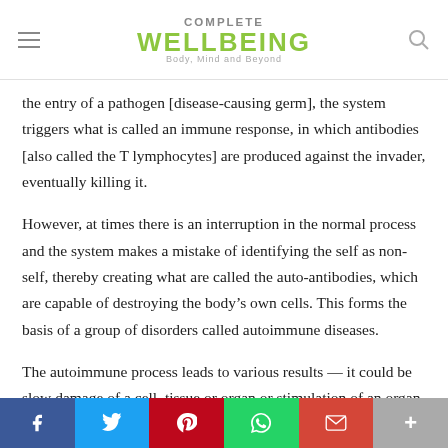COMPLETE WELLBEING — Body, Mind and Beyond
the entry of a pathogen [disease-causing germ], the system triggers what is called an immune response, in which antibodies [also called the T lymphocytes] are produced against the invader, eventually killing it.
However, at times there is an interruption in the normal process and the system makes a mistake of identifying the self as non-self, thereby creating what are called the auto-antibodies, which are capable of destroying the body's own cells. This forms the basis of a group of disorders called autoimmune diseases.
The autoimmune process leads to various results — it could be slow damage of a cell, tissue or organ or stimulation of an organ…